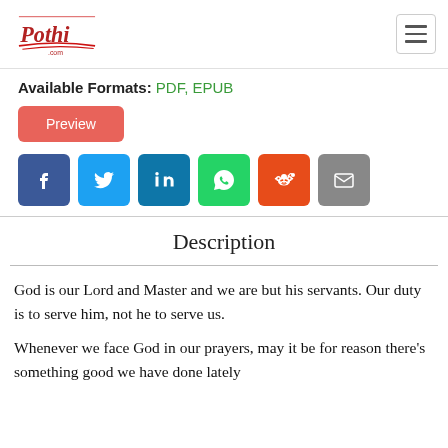[Figure (logo): Pothi.com logo with red decorative script text and red underline swoosh]
Available Formats: PDF, EPUB
Preview
[Figure (infographic): Row of social share icons: Facebook, Twitter, LinkedIn, WhatsApp, Reddit, Email]
Description
God is our Lord and Master and we are but his servants. Our duty is to serve him, not he to serve us.
Whenever we face God in our prayers, may it be for reason there's something good we have done lately